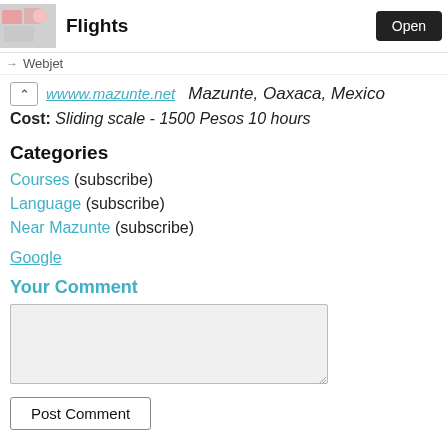Flights
Webjet
Mazunte, Oaxaca, Mexico
Cost: Sliding scale - 1500 Pesos 10 hours
Categories
Courses (subscribe)
Language (subscribe)
Near Mazunte (subscribe)
Google
Your Comment
Post Comment